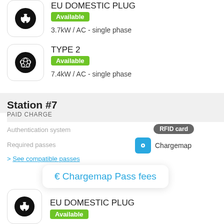[Figure (illustration): EU Domestic Plug icon — round plug symbol in black circle inside rounded square]
EU DOMESTIC PLUG
Available
3.7kW / AC - single phase
[Figure (illustration): Type 2 EV plug icon — multi-pin circular connector in black circle inside rounded square]
TYPE 2
Available
7.4kW / AC - single phase
Station #7
PAID CHARGE
Authentication system
RFID card
Required passes
Chargemap
See compatible passes
€ Chargemap Pass fees
[Figure (illustration): EU Domestic Plug icon — round plug symbol in black circle inside rounded square]
EU DOMESTIC PLUG
Available